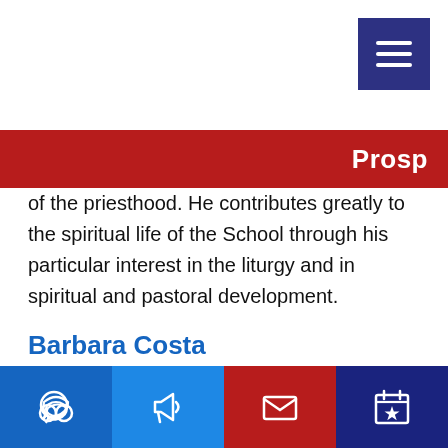Prosp
of the priesthood. He contributes greatly to the spiritual life of the School through his particular interest in the liturgy and in spiritual and pastoral development.
Barbara Costa
Executive Headteacher
Committees: